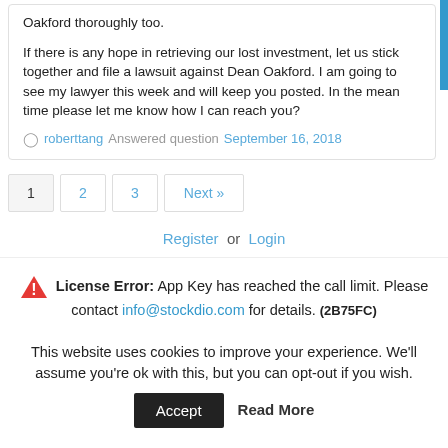Oakford thoroughly too. If there is any hope in retrieving our lost investment, let us stick together and file a lawsuit against Dean Oakford. I am going to see my lawyer this week and will keep you posted. In the mean time please let me know how I can reach you?
roberttang Answered question September 16, 2018
1  2  3  Next »
Register or Login
⚠ License Error: App Key has reached the call limit. Please contact info@stockdio.com for details. (2B75FC)
This website uses cookies to improve your experience. We'll assume you're ok with this, but you can opt-out if you wish.
Accept  Read More